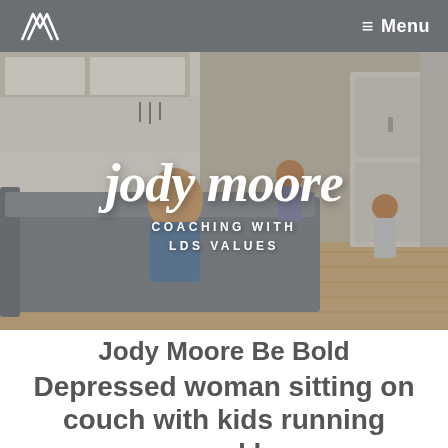≡ Menu
[Figure (photo): Website header image for Jody Moore Be Bold coaching site. Shows a depressed woman sitting on a couch with her hand to her head while two children run around her in a bright kitchen/living room. Overlaid with cursive 'jody moore' script logo and text 'COACHING WITH LDS VALUES'.]
Jody Moore Be Bold Depressed woman sitting on couch with kids running around her